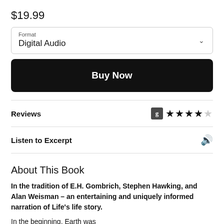$19.99
Format
Digital Audio
Buy Now
Reviews
Listen to Excerpt
About This Book
In the tradition of E.H. Gombrich, Stephen Hawking, and Alan Weisman – an entertaining and uniquely informed narration of Life's life story.
In the beginning, Earth was